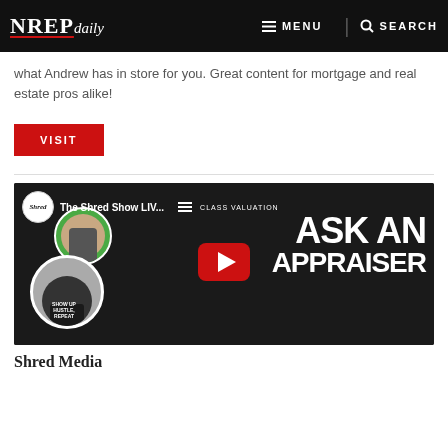NREP daily  MENU  SEARCH
what Andrew has in store for you. Great content for mortgage and real estate pros alike!
VISIT
[Figure (screenshot): YouTube video thumbnail for 'The Shred Show LIV...' featuring two men and text reading 'ASK AN APPRAISER' with a red YouTube play button in the center.]
Shred Media